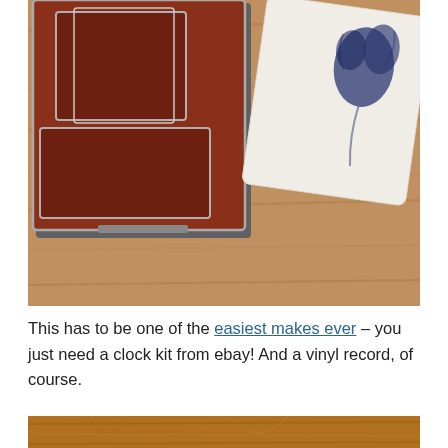[Figure (photo): Photo of retro red-brown and chrome device components on a wood grain surface, alongside a white fabric box with a dark blue decorative print]
This has to be one of the easiest makes ever – you just need a clock kit from ebay! And a vinyl record, of course.
[Figure (photo): Bottom portion of a photo showing a warm brown wood grain surface]